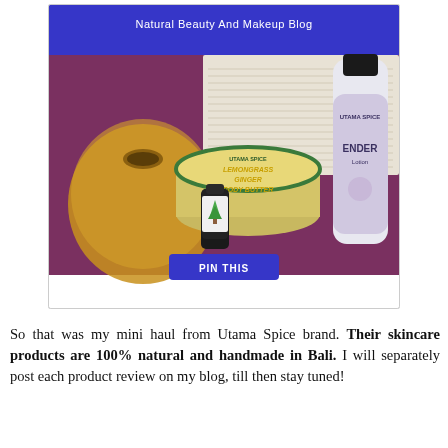[Figure (photo): Blog post image card from 'Natural Beauty And Makeup Blog' showing Utama Spice brand skincare products — a jar of Lemongrass Ginger Body Butter, a small essential oil bottle with a green tree label, and a Lavender Lotion bottle — arranged on a purple/wine-colored surface with a wooden diffuser and blue banner background. A blue 'PIN THIS' button appears at the bottom of the image.]
So that was my mini haul from Utama Spice brand. Their skincare products are 100% natural and handmade in Bali. I will separately post each product review on my blog, till then stay tuned!